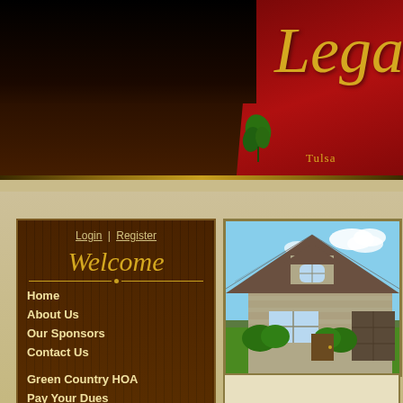[Figure (screenshot): Website header with dark brown background on left, red panel on right with italic gold 'Lega' text visible and 'Tulsa' subtitle. Decorative leaf element visible.]
Login | Register
Welcome
Home
About Us
Our Sponsors
Contact Us
Green Country HOA
Pay Your Dues
Residents
Board Members
Committees
Documents
[Figure (photo): Photo of a residential home with stone/brick exterior, pitched roof, arched window dormer, and landscaped lawn with shrubs and flowers. Blue sky with clouds in background.]